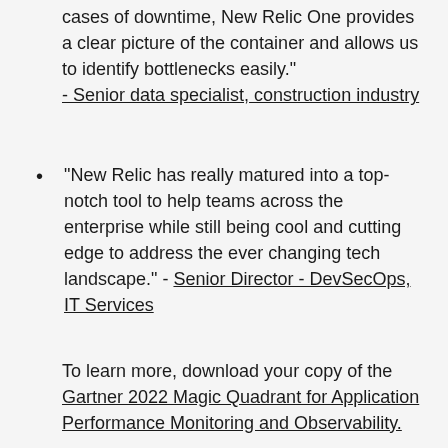cases of downtime, New Relic One provides a clear picture of the container and allows us to identify bottlenecks easily." - Senior data specialist, construction industry
"New Relic has really matured into a top-notch tool to help teams across the enterprise while still being cool and cutting edge to address the ever changing tech landscape." - Senior Director - DevSecOps, IT Services
To learn more, download your copy of the Gartner 2022 Magic Quadrant for Application Performance Monitoring and Observability.